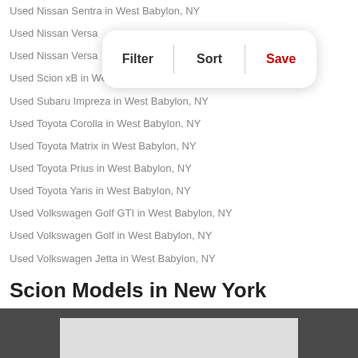Used Nissan Sentra in West Babylon, NY
Used Nissan Versa
Used Nissan Versa
Used Scion xB in West Babylon, NY
Used Subaru Impreza in West Babylon, NY
Used Toyota Corolla in West Babylon, NY
Used Toyota Matrix in West Babylon, NY
Used Toyota Prius in West Babylon, NY
Used Toyota Yaris in West Babylon, NY
Used Volkswagen Golf GTI in West Babylon, NY
Used Volkswagen Golf in West Babylon, NY
Used Volkswagen Jetta in West Babylon, NY
Scion Models in New York
Used Scion FR-S in West Babylon, NY
Used Scion xB in West Babylon, NY